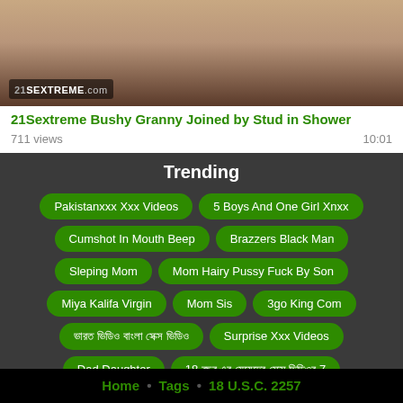[Figure (screenshot): Video thumbnail showing skin-toned image with 21Sextreme.com logo watermark]
21Sextreme Bushy Granny Joined by Stud in Shower
711 views  10:01
Trending
Pakistanxxx Xxx Videos
5 Boys And One Girl Xnxx
Cumshot In Mouth Beep
Brazzers Black Man
Sleping Mom
Mom Hairy Pussy Fuck By Son
Miya Kalifa Virgin
Mom Sis
3go King Com
ভারত ভিডিও বাংলা সেক্স ভিডিও
Surprise Xxx Videos
Dad Daughter
18 বছর এর মেয়েদের সেক্স ভিডিওর 7
বাংলা চুদাচুদি ভিডিওসমূহ
Grandpa And Daughter
Home • Tags • 18 U.S.C. 2257